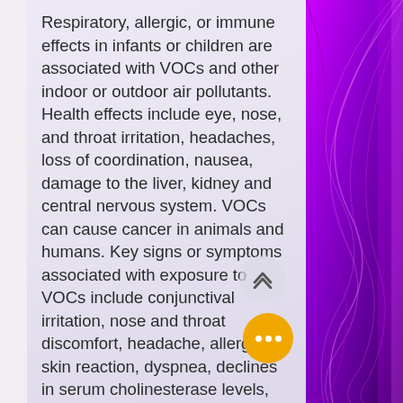Respiratory, allergic, or immune effects in infants or children are associated with VOCs and other indoor or outdoor air pollutants. Health effects include eye, nose, and throat irritation, headaches, loss of coordination, nausea, damage to the liver, kidney and central nervous system. VOCs can cause cancer in animals and humans. Key signs or symptoms associated with exposure to VOCs include conjunctival irritation, nose and throat discomfort, headache, allergic skin reaction, dyspnea, declines in serum cholinesterase levels, nausea, vomiting, nose bleeding, fatigue, dizziness. Eye and respiratory tract irritation, headaches, dizziness, visual disorders,
[Figure (other): Purple/violet background with feather or hair-like texture visible on right side of image]